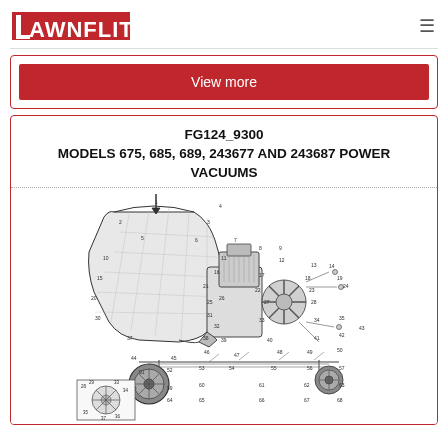LAWNFLITE
View more
FG124_9300
MODELS 675, 685, 689, 243677 AND 243687 POWER VACUUMS
[Figure (engineering-diagram): Exploded parts diagram of a power vacuum (models 675, 685, 689, 243677, 243687) showing numbered components including bag, housing, wheels, engine, impeller, and frame parts with callout numbers.]